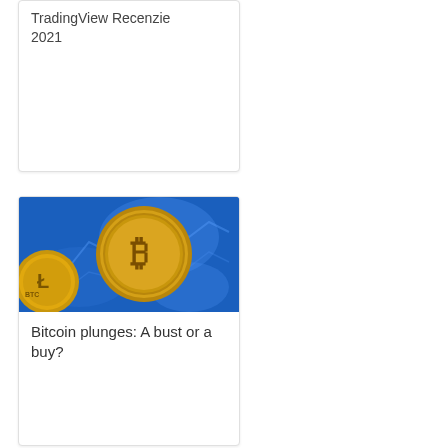TradingView Recenzie 2021
[Figure (photo): Bitcoin gold coin close-up against blue blurred background with chart patterns]
Bitcoin plunges: A bust or a buy?